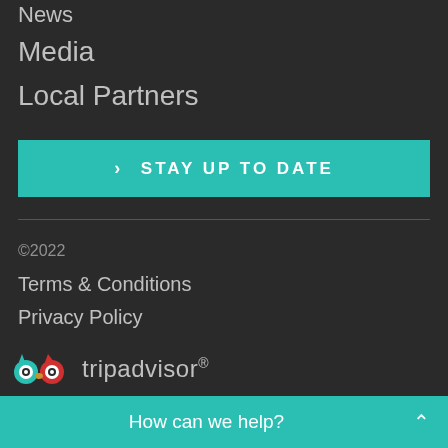News
Media
Local Partners
> STAY UP TO DATE
©2022
Terms & Conditions
Privacy Policy
[Figure (logo): TripAdvisor logo with owl icon and text 'tripadvisor®']
How can we help?